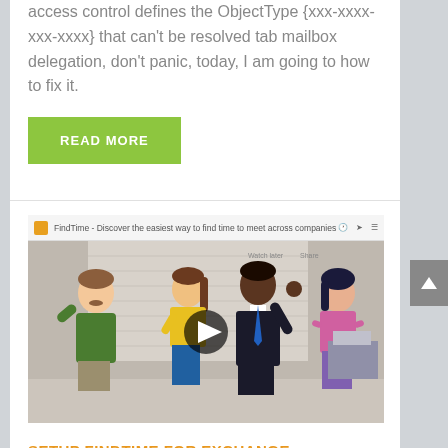access control defines the ObjectType {xxx-xxxx-xxx-xxxx} that can't be resolved tab mailbox delegation, don't panic, today, I am going to how to fix it.
READ MORE
[Figure (screenshot): YouTube-style video thumbnail showing FindTime promotional video with animated cartoon characters: a man in green sweater, a woman in yellow top, a man in black suit waving, and a woman in pink top. Video bar at top reads: FindTime - Discover the easiest way to find time to meet across companies. Play button visible in center.]
SETUP FINDTIME FOR EXCHANGE ONLINE